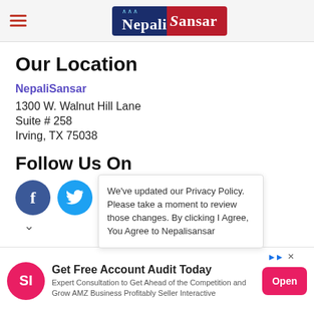NepaliSansar
Our Location
NepaliSansar
1300 W. Walnut Hill Lane
Suite # 258
Irving, TX 75038
Follow Us On
We've updated our Privacy Policy. Please take a moment to review those changes. By clicking I Agree, You Agree to Nepalisansar
[Figure (other): Facebook and Twitter social media icon buttons with a chevron below]
Get Free Account Audit Today
Expert Consultation to Get Ahead of the Competition and Grow AMZ Business Profitably Seller Interactive